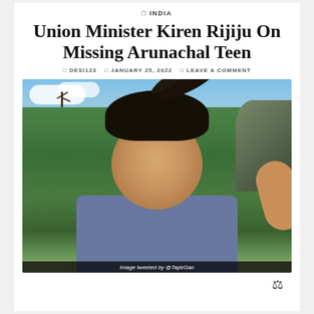◻ INDIA
Union Minister Kiren Rijiju On Missing Arunachal Teen
◻ DESI123  ◻ JANUARY 25, 2022  ◻ LEAVE A COMMENT
[Figure (photo): Selfie of a young man with wind-blown dark hair outdoors in a forested/mountainous area, wearing a grey t-shirt. Sky and green trees visible in background. Caption: Image tweeted by @TapirGao]
Image tweeted by @TapirGao